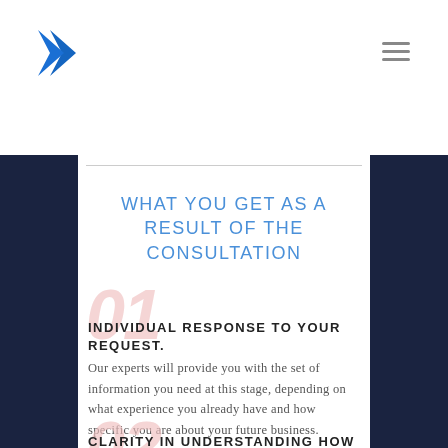JETBRAIN (logo with blue chevron)
WHAT YOU GET AS A RESULT OF THE CONSULTATION
01
INDIVIDUAL RESPONSE TO YOUR REQUEST.
Our experts will provide you with the set of information you need at this stage, depending on what experience you already have and how specific you are about your future business.
02
CLARITY IN UNDERSTANDING HOW YOUR